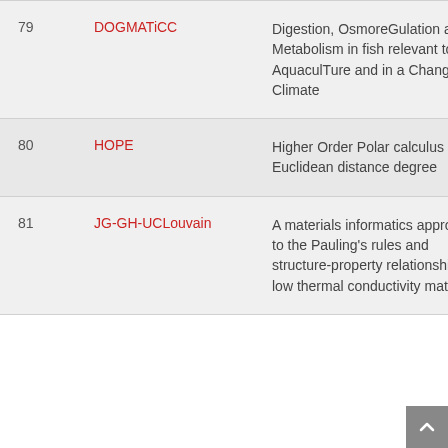| # | Name | Description |  |
| --- | --- | --- | --- |
| 79 | DOGMATiCC | Digestion, OsmoreGulation and Metabolism in fish relevant to AquaculTure and in a Changing Climate |  |
| 80 | HOPE | Higher Order Polar calculus and Euclidean distance degree |  |
| 81 | JG-GH-UCLouvain | A materials informatics approach to the Pauling's rules and structure-property relationships in low thermal conductivity materials |  |